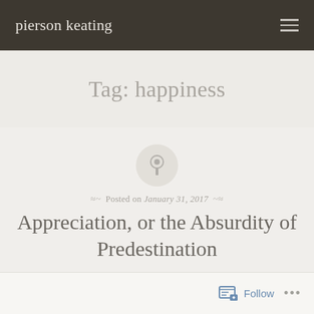pierson keating
Tag: happiness
[Figure (illustration): A circular pushpin icon with a thumbtack symbol, light gray background circle]
Posted on January 31, 2017
Appreciation, or the Absurdity of Predestination
Follow   ...